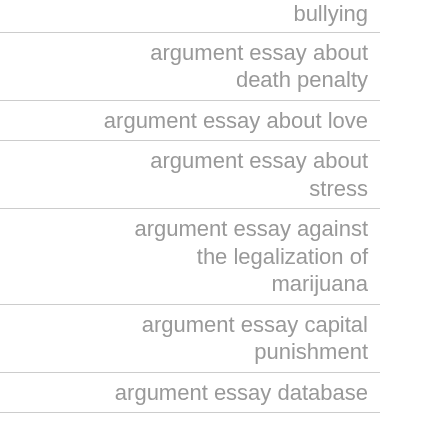bullying
argument essay about death penalty
argument essay about love
argument essay about stress
argument essay against the legalization of marijuana
argument essay capital punishment
argument essay database